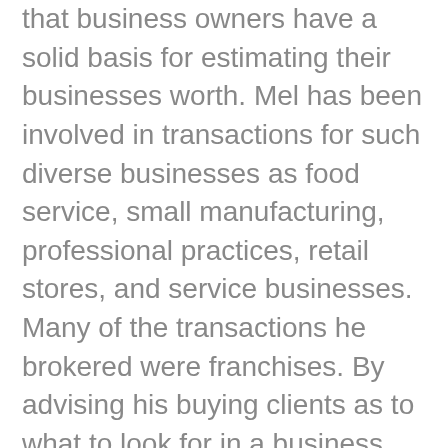that business owners have a solid basis for estimating their businesses worth. Mel has been involved in transactions for such diverse businesses as food service, small manufacturing, professional practices, retail stores, and service businesses. Many of the transactions he brokered were franchises. By advising his buying clients as to what to look for in a business, what to be wary of, and how to read and analyze financial statements he helped them make better decisions. Additionally, he advises his selling clients how make their business ready for sale by making it most attractive to buyers. He works with his clients to develop business plans, and obtain SBA loans. If you are thinking of buying or selling or just want to know what your business is worth, you need to set an appointment with Mel